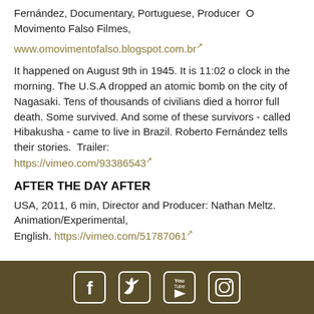Fernández, Documentary, Portuguese, Producer  O Movimento Falso Filmes,
www.omovimentofalso.blogspot.com.br
It happened on August 9th in 1945. It is 11:02 o clock in the morning. The U.S.A dropped an atomic bomb on the city of Nagasaki. Tens of thousands of civilians died a horror full death. Some survived. And some of these survivors - called Hibakusha - came to live in Brazil. Roberto Fernández tells their stories.  Trailer: https://vimeo.com/93386543
AFTER THE DAY AFTER
USA, 2011, 6 min, Director and Producer: Nathan Meltz. Animation/Experimental, English. https://vimeo.com/51787061
[Figure (other): Footer bar with social media icons: Facebook, Twitter, YouTube, Instagram]